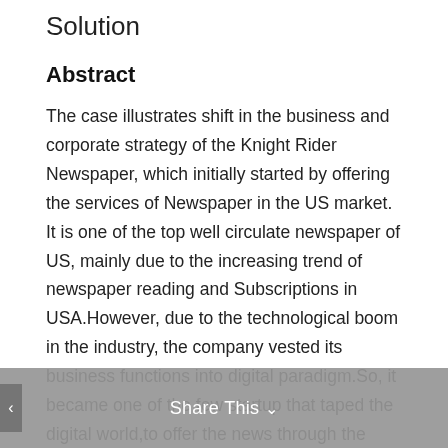Solution
Abstract
The case illustrates shift in the business and corporate strategy of the Knight Rider Newspaper, which initially started by offering the services of Newspaper in the US market. It is one of the top well circulate newspaper of US, mainly due to the increasing trend of newspaper reading and Subscriptions in USA.However, due to the technological boom in the industry, the company vested its business functions into digital paradigm.So, it became one of the few startup that taped the digital world,to offer the news through the digital channel.In current scenario, the company mainly operates under two divisions, namely Knight Rider newspaper and